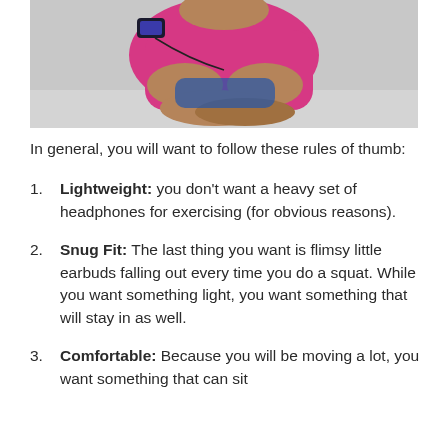[Figure (photo): A woman in a pink athletic top sitting cross-legged outdoors, wearing an armband phone holder, with earbuds.]
In general, you will want to follow these rules of thumb:
Lightweight: you don't want a heavy set of headphones for exercising (for obvious reasons).
Snug Fit: The last thing you want is flimsy little earbuds falling out every time you do a squat. While you want something light, you want something that will stay in as well.
Comfortable: Because you will be moving a lot, you want something that can sit...